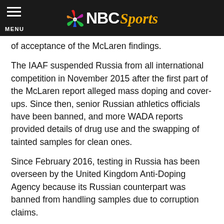NBC Sports
of acceptance of the McLaren findings.
The IAAF suspended Russia from all international competition in November 2015 after the first part of the McLaren report alleged mass doping and cover-ups. Since then, senior Russian athletics officials have been banned, and more WADA reports provided details of drug use and the swapping of tainted samples for clean ones.
Since February 2016, testing in Russia has been overseen by the United Kingdom Anti-Doping Agency because its Russian counterpart was banned from handling samples due to corruption claims.
Last month, the IAAF provided new guidelines for Russians hoping to compete in a neutral capacity. The IAAF said 35 Russians have applied, sending in forms listing their drug-test history under newly relaxed IAAF